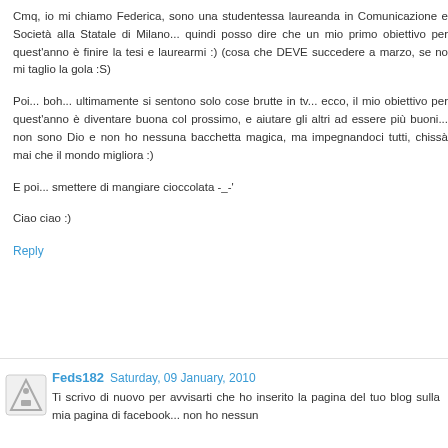Cmq, io mi chiamo Federica, sono una studentessa laureanda in Comunicazione e Società alla Statale di Milano... quindi posso dire che un mio primo obiettivo per quest'anno è finire la tesi e laurearmi :) (cosa che DEVE succedere a marzo, se no mi taglio la gola :S)
Poi... boh... ultimamente si sentono solo cose brutte in tv... ecco, il mio obiettivo per quest'anno è diventare buona col prossimo, e aiutare gli altri ad essere più buoni... non sono Dio e non ho nessuna bacchetta magica, ma impegnandoci tutti, chissà mai che il mondo migliora :)
E poi... smettere di mangiare cioccolata -_-'
Ciao ciao :)
Reply
Feds182  Saturday, 09 January, 2010
Ti scrivo di nuovo per avvisarti che ho inserito la pagina del tuo blog sulla mia pagina di facebook... non ho nessun...